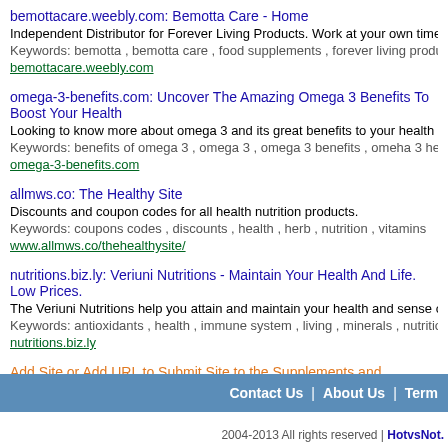bemottacare.weebly.com: Bemotta Care - Home
Independent Distributor for Forever Living Products. Work at your own time and pace and
Keywords: bemotta , bemotta care , food supplements , forever living products
bemottacare.weebly.com
omega-3-benefits.com: Uncover The Amazing Omega 3 Benefits To Boost Your Health
Looking to know more about omega 3 and its great benefits to your health and overall we
Keywords: benefits of omega 3 , omega 3 , omega 3 benefits , omeha 3 health benefits
omega-3-benefits.com
allmws.co: The Healthy Site
Discounts and coupon codes for all health nutrition products.
Keywords: coupons codes , discounts , health , herb , nutrition , vitamins
www.allmws.co/thehealthysite/
nutritions.biz.ly: Veriuni Nutritions - Maintain Your Health And Life. Low Prices.
The Veriuni Nutritions help you attain and maintain your health and sense of well-being, r
Keywords: antioxidants , health , immune system , living , minerals , nutrition , protein
nutritions.biz.ly
Add Site or Add URL to Submit Site to the Supplements and Products Directory
Contact Us | About Us | Term
2004-2013 All rights reserved | HotvsNot.